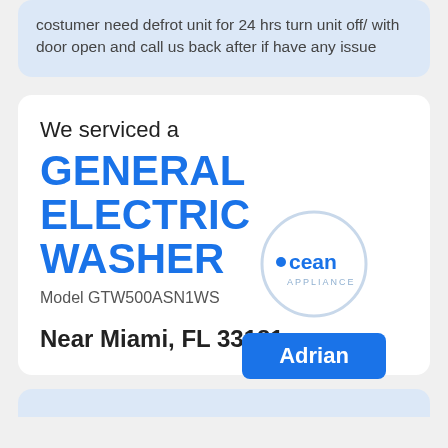costumer need defrot unit for 24 hrs turn unit off/ with door open and call us back after if have any issue
We serviced a
GENERAL ELECTRIC WASHER
[Figure (logo): Ocean Appliance circular logo with blue text]
Adrian
Model GTW500ASN1WS
Near Miami, FL 33181